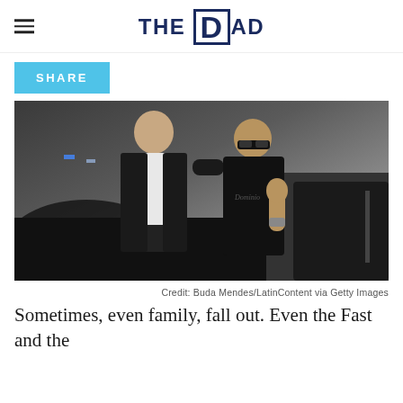THE DAD
SHARE
[Figure (photo): Two bald men posing together in front of a dark car. The man on the left wears a dark suit with white shirt, the man on the right wears a black t-shirt and sunglasses giving a thumbs up.]
Credit: Buda Mendes/LatinContent via Getty Images
Sometimes, even family, fall out. Even the Fast and the